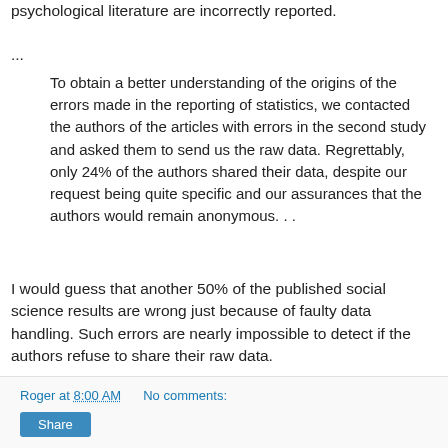psychological literature are incorrectly reported.
...
To obtain a better understanding of the origins of the errors made in the reporting of statistics, we contacted the authors of the articles with errors in the second study and asked them to send us the raw data. Regrettably, only 24% of the authors shared their data, despite our request being quite specific and our assurances that the authors would remain anonymous. . .
I would guess that another 50% of the published social science results are wrong just because of faulty data handling. Such errors are nearly impossible to detect if the authors refuse to share their raw data.
Roger at 8:00 AM    No comments:
Share